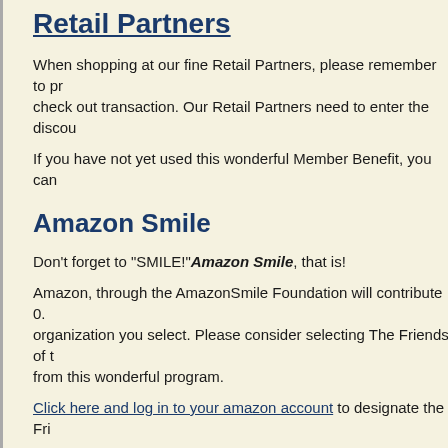Retail Partners
When shopping at our fine Retail Partners, please remember to pr check out transaction. Our Retail Partners need to enter the discou
If you have not yet used this wonderful Member Benefit, you can
Amazon Smile
Don't forget to "SMILE!" Amazon Smile, that is!
Amazon, through the AmazonSmile Foundation will contribute 0. organization you select. Please consider selecting The Friends of from this wonderful program.
Click here and log in to your amazon account to designate the Fri
All our events can be found on our Events Page where, we are happ "Add to Cart" buttons on our Events page and Membership page. C Bencivengo: info@arboretumfriends.net or leave a message at (973